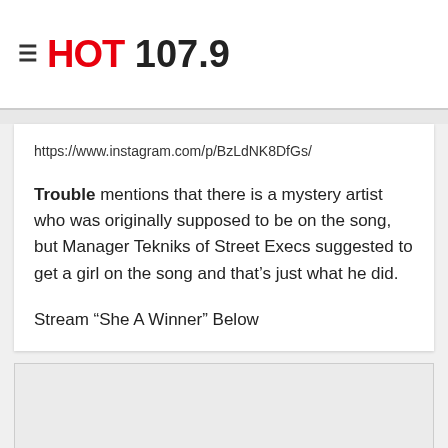HOT 107.9
https://www.instagram.com/p/BzLdNK8DfGs/
Trouble mentions that there is a mystery artist who was originally supposed to be on the song, but Manager Tekniks of Street Execs suggested to get a girl on the song and that's just what he did.
Stream “She A Winner” Below
[Figure (other): Embedded audio/media player box (gray placeholder)]